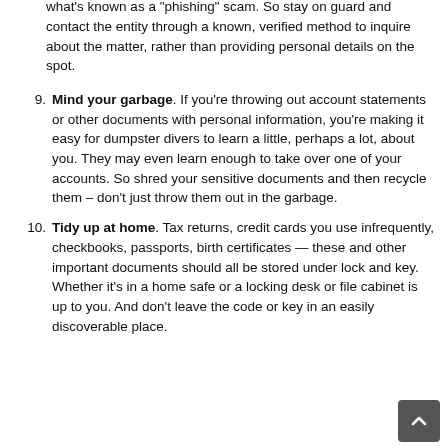prize or need to verify your account. To claim the prize or account, you'll, of course, need to supply some sensitive information. Requests like these are almost always inauthentic – what's known as a "phishing" scam. So stay on guard and contact the entity through a known, verified method to inquire about the matter, rather than providing personal details on the spot.
9. Mind your garbage. If you're throwing out account statements or other documents with personal information, you're making it easy for dumpster divers to learn a little, perhaps a lot, about you. They may even learn enough to take over one of your accounts. So shred your sensitive documents and then recycle them – don't just throw them out in the garbage.
10. Tidy up at home. Tax returns, credit cards you use infrequently, checkbooks, passports, birth certificates — these and other important documents should all be stored under lock and key. Whether it's in a home safe or a locking desk or file cabinet is up to you. And don't leave the code or key in an easily discoverable place.